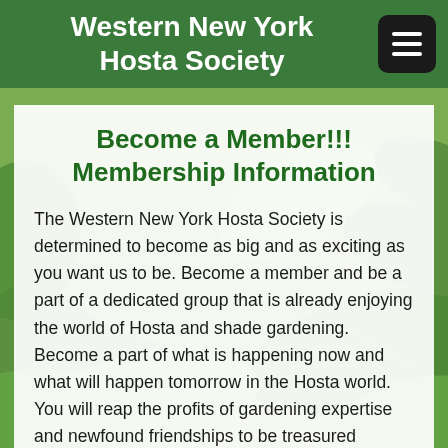Western New York Hosta Society
Become a Member!!!
Membership Information
The Western New York Hosta Society is determined to become as big and as exciting as you want us to be. Become a member and be a part of a dedicated group that is already enjoying the world of Hosta and shade gardening. Become a part of what is happening now and what will happen tomorrow in the Hosta world. You will reap the profits of gardening expertise and newfound friendships to be treasured